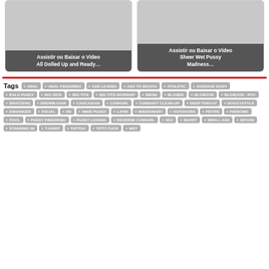[Figure (other): Video thumbnail placeholder card for 'Assistir ou Baixar o Vídeo All Dolled Up and Ready...']
[Figure (other): Video thumbnail placeholder card for 'Assistir ou Baixar o Vídeo Sheer Wet Pussy Madness...']
Tags
ANAL
ANAL FINGERING
ASS LICKING
ASS TO MOUTH
ATHLETIC
AVERAGE BODY
BALD PUSSY
BIG DICK
BIG TITS
BIG TITS WORSHIP
BIKINI
BLONDE
BLOWJOB
BLOWJOB - POV
BRAZZERS
BROWN HAIR
CAUCASIAN
COWGIRL
CUMSHOT CLEAN-UP
DEEP THROAT
DOGGYSTYLE
ENHANCED
FACIAL
HD
INNIE PUSSY
LATIN
MISSIONARY
OUTDOORS
PETITE
PIERCING
POOL
PUSSY FINGERING
PUSSY LICKING
REVERSE COWGIRL
SEX
SHORT
SMALL ASS
SPOON
STANDING 69
T-SHIRT
TATTOO
TITTY FUCK
WET